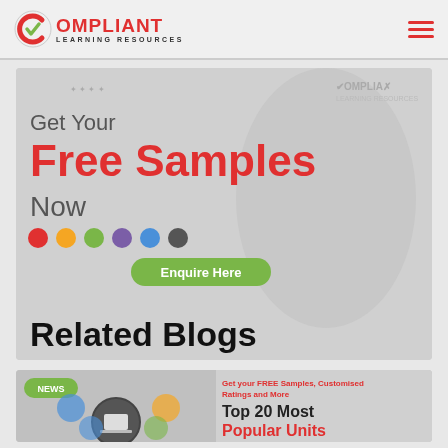Compliant Learning Resources
[Figure (illustration): Promotional banner for Compliant Learning Resources showing 'Get Your Free Samples Now' with colored dots and Enquire Here button, featuring woman in background. Related Blogs heading overlaid at bottom.]
Related Blogs
[Figure (illustration): Blog preview thumbnail with NEWS badge, icons showing people and laptop. Text: 'Get your FREE Samples, Customised Ratings and More' and 'Top 20 Most Popular Units']